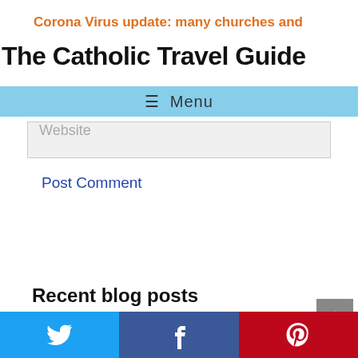Corona Virus update:  many churches and
The Catholic Travel Guide
≡ Menu
Website
Post Comment
Recent blog posts